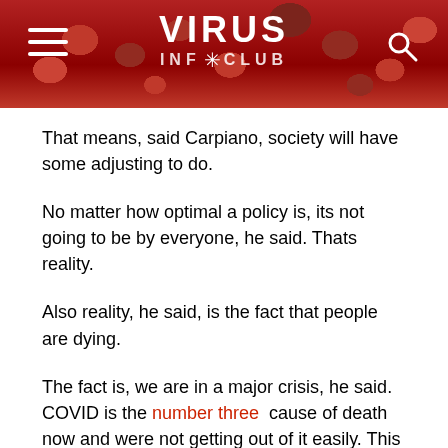VIRUS INFO CLUB
That means, said Carpiano, society will have some adjusting to do.
No matter how optimal a policy is, its not going to be by everyone, he said. Thats reality.
Also reality, he said, is the fact that people are dying.
The fact is, we are in a major crisis, he said. COVID is the number three cause of death now and were not getting out of it easily. This is going to be our new reality. Thats the hard truth of it.
And while Carpiano feels for those like Susan, he said, he